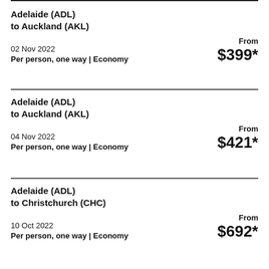Adelaide (ADL)
to Auckland (AKL)
02 Nov 2022
Per person, one way | Economy
From $399*
Adelaide (ADL)
to Auckland (AKL)
04 Nov 2022
Per person, one way | Economy
From $421*
Adelaide (ADL)
to Christchurch (CHC)
10 Oct 2022
Per person, one way | Economy
From $692*